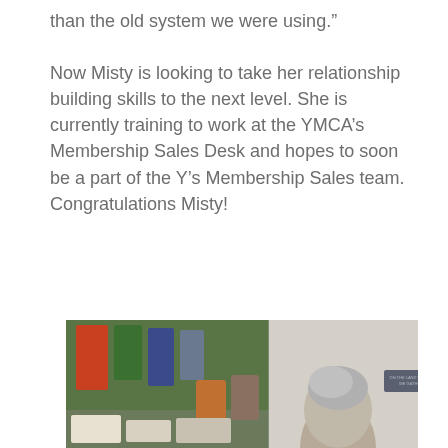than the old system we were using."

Now Misty is looking to take her relationship building skills to the next level. She is currently training to work at the YMCA's Membership Sales Desk and hopes to soon be a part of the Y's Membership Sales team. Congratulations Misty!
[Figure (photo): A photo showing two people in what appears to be a YMCA facility. On the left side there are clothing items and bags hanging on a rack with green and colorful garments. On the right side is a person with grey/white hair seen from behind, standing near a wall with a sign or plaque.]